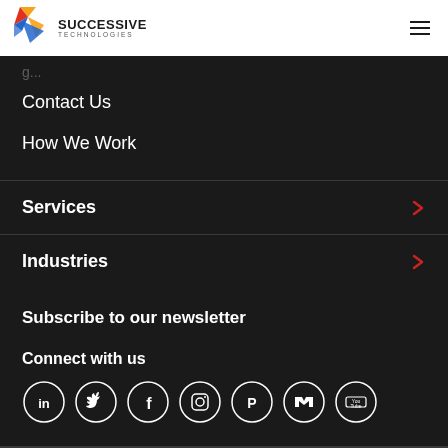[Figure (logo): Successive Technologies logo with colorful arrow icon and company name]
Contact Us
How We Work
Services
Industries
Subscribe to our newsletter
Connect with us
[Figure (illustration): Social media icons in circles: LinkedIn, Twitter, Facebook, Instagram, Pinterest, Medium, YouTube]